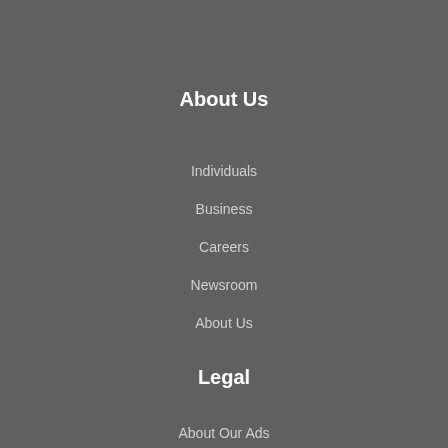About Us
Individuals
Business
Careers
Newsroom
About Us
Legal
About Our Ads